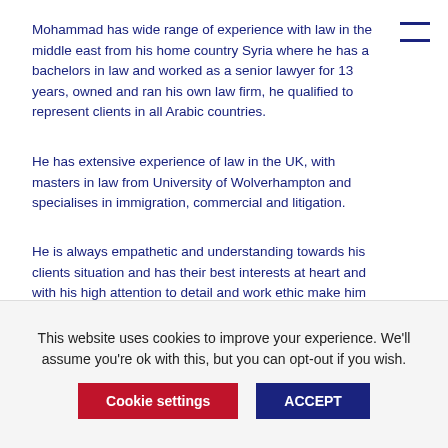Mohammad has wide range of experience with law in the middle east from his home country Syria where he has a bachelors in law and worked as a senior lawyer for 13 years, owned and ran his own law firm, he qualified to represent clients in all Arabic countries.
He has extensive experience of law in the UK, with masters in law from University of Wolverhampton and specialises in immigration, commercial and litigation.
He is always empathetic and understanding towards his clients situation and has their best interests at heart and with his high attention to detail and work ethic make him very effective at ensuring the best outcomes for his clients.
Mohammad is completely fluent in Arabic and Kurdish.
This website uses cookies to improve your experience. We'll assume you're ok with this, but you can opt-out if you wish.